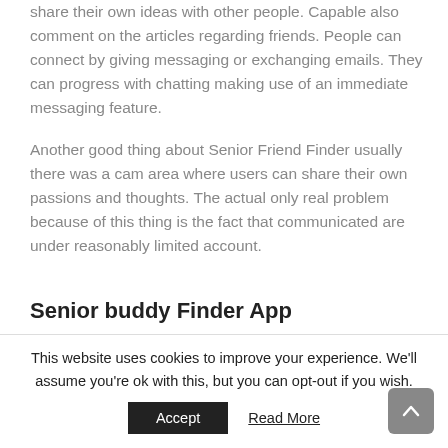share their own ideas with other people. Capable also comment on the articles regarding friends. People can connect by giving messaging or exchanging emails. They can progress with chatting making use of an immediate messaging feature.
Another good thing about Senior Friend Finder usually there was a cam area where users can share their own passions and thoughts. The actual only real problem because of this thing is the fact that communicated are under reasonably limited account.
Senior buddy Finder App
This website uses cookies to improve your experience. We'll assume you're ok with this, but you can opt-out if you wish.